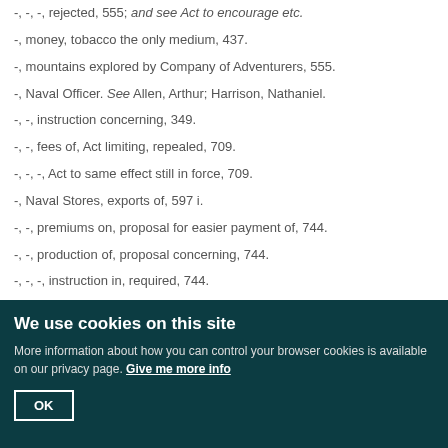-, -, -, rejected, 555; and see Act to encourage etc.
-, money, tobacco the only medium, 437.
-, mountains explored by Company of Adventurers, 555.
-, Naval Officer. See Allen, Arthur; Harrison, Nathaniel.
-, -, instruction concerning, 349.
-, -, fees of, Act limiting, repealed, 709.
-, -, -, Act to same effect still in force, 709.
-, Naval Stores, exports of, 597 i.
-, -, premiums on, proposal for easier payment of, 744.
-, -, production of, proposal concerning, 744.
-, -, -, instruction in, required, 744.
-, -, as quit-rents, proposed, 437 v.
-, -, negroes, 710.
We use cookies on this site
More information about how you can control your browser cookies is available on our privacy page. Give me more info
OK